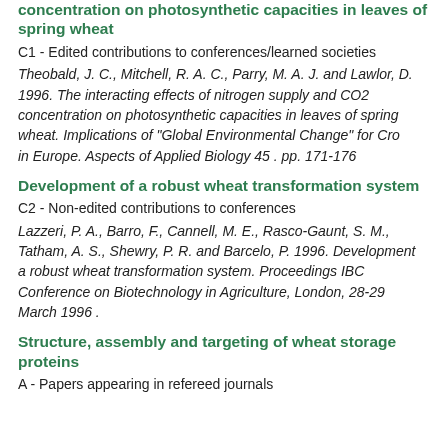concentration on photosynthetic capacities in leaves of spring wheat
C1 - Edited contributions to conferences/learned societies
Theobald, J. C., Mitchell, R. A. C., Parry, M. A. J. and Lawlor, D. 1996. The interacting effects of nitrogen supply and CO2 concentration on photosynthetic capacities in leaves of spring wheat. Implications of "Global Environmental Change" for Crops in Europe. Aspects of Applied Biology 45 . pp. 171-176
Development of a robust wheat transformation system
C2 - Non-edited contributions to conferences
Lazzeri, P. A., Barro, F., Cannell, M. E., Rasco-Gaunt, S. M., Tatham, A. S., Shewry, P. R. and Barcelo, P. 1996. Development of a robust wheat transformation system. Proceedings IBC Conference on Biotechnology in Agriculture, London, 28-29 March 1996 .
Structure, assembly and targeting of wheat storage proteins
A - Papers appearing in refereed journals